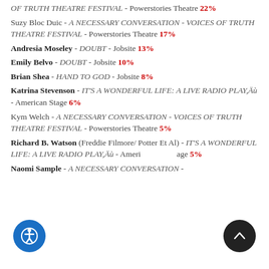OF TRUTH THEATRE FESTIVAL - Powerstories Theatre 22%
Suzy Bloc Duic - A NECESSARY CONVERSATION - VOICES OF TRUTH THEATRE FESTIVAL - Powerstories Theatre 17%
Andresia Moseley - DOUBT - Jobsite 13%
Emily Belvo - DOUBT - Jobsite 10%
Brian Shea - HAND TO GOD - Jobsite 8%
Katrina Stevenson - IT'S A WONDERFUL LIFE: A LIVE RADIO PLAY,Äù - American Stage 6%
Kym Welch - A NECESSARY CONVERSATION - VOICES OF TRUTH THEATRE FESTIVAL - Powerstories Theatre 5%
Richard B. Watson (Freddie Filmore/ Potter Et Al) - IT'S A WONDERFUL LIFE: A LIVE RADIO PLAY,Äù - American Stage 5%
Naomi Sample - A NECESSARY CONVERSATION -